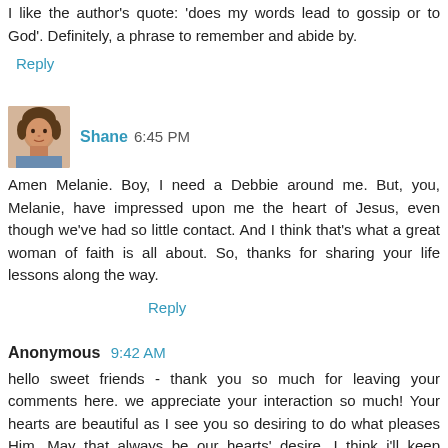I like the author's quote: 'does my words lead to gossip or to God'. Definitely, a phrase to remember and abide by.
Reply
Shane 6:45 PM
Amen Melanie. Boy, I need a Debbie around me. But, you, Melanie, have impressed upon me the heart of Jesus, even though we've had so little contact. And I think that's what a great woman of faith is all about. So, thanks for sharing your life lessons along the way.
Reply
Anonymous 9:42 AM
hello sweet friends - thank you so much for leaving your comments here. we appreciate your interaction so much! Your hearts are beautiful as I see you so desiring to do what pleases Him. May that always be our hearts' desire. I think i'll keep writing about this topic as God continues to teach me! blessings - melanie